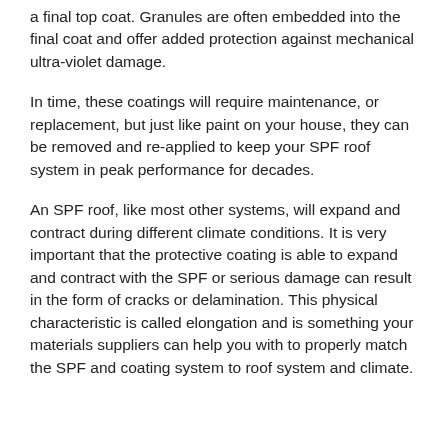a final top coat. Granules are often embedded into the final coat and offer added protection against mechanical ultra-violet damage.
In time, these coatings will require maintenance, or replacement, but just like paint on your house, they can be removed and re-applied to keep your SPF roof system in peak performance for decades.
An SPF roof, like most other systems, will expand and contract during different climate conditions. It is very important that the protective coating is able to expand and contract with the SPF or serious damage can result in the form of cracks or delamination. This physical characteristic is called elongation and is something your materials suppliers can help you with to properly match the SPF and coating system to roof system and climate.